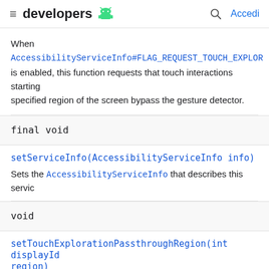≡ developers 🤖  🔍 Accedi
When AccessibilityServiceInfo#FLAG_REQUEST_TOUCH_EXPLOR is enabled, this function requests that touch interactions starting specified region of the screen bypass the gesture detector.
final void
setServiceInfo(AccessibilityServiceInfo info)
Sets the AccessibilityServiceInfo that describes this servic
void
setTouchExplorationPassthroughRegion(int displayId region)
When